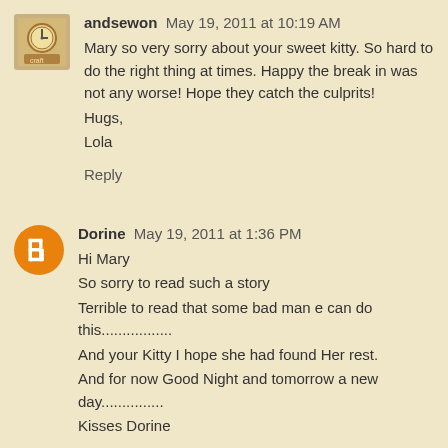andsewon May 19, 2011 at 10:19 AM
Mary so very sorry about your sweet kitty. So hard to do the right thing at times. Happy the break in was not any worse! Hope they catch the culprits!
Hugs,
Lola
Reply
Dorine May 19, 2011 at 1:36 PM
Hi Mary
So sorry to read such a story
Terrible to read that some bad man e can do this.................
And your Kitty I hope she had found Her rest.
And for now Good Night and tomorrow a new day...............
Kisses Dorine
Reply
Carole Durant May 19, 2011 at 2:55 PM